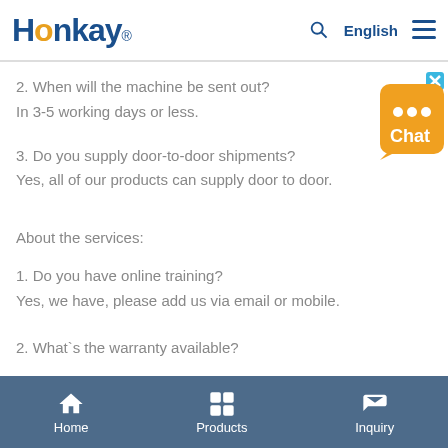Honkay® English
2. When will the machine be sent out?
In 3-5 working days or less.
3. Do you supply door-to-door shipments?
Yes, all of our products can supply door to door.
About the services:
1. Do you have online training?
Yes, we have, please add us via email or mobile.
2. What`s the warranty available?
Home  Products  Inquiry